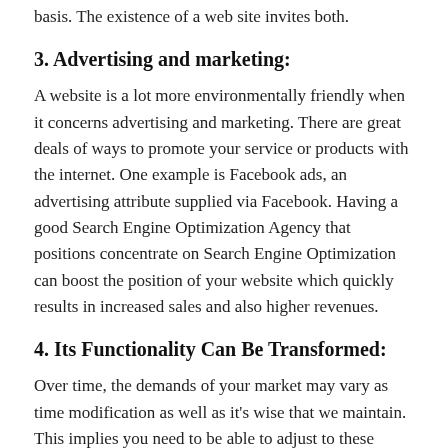basis. The existence of a web site invites both.
3. Advertising and marketing:
A website is a lot more environmentally friendly when it concerns advertising and marketing. There are great deals of ways to promote your service or products with the internet. One example is Facebook ads, an advertising attribute supplied via Facebook. Having a good Search Engine Optimization Agency that positions concentrate on Search Engine Optimization can boost the position of your website which quickly results in increased sales and also higher revenues.
4. Its Functionality Can Be Transformed:
Over time, the demands of your market may vary as time modification as well as it's wise that we maintain. This implies you need to be able to adjust to these adjustments also. Many modern site systems allow you to add all types of extra